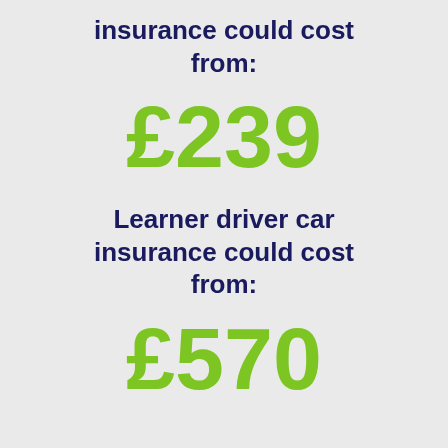insurance could cost from:
£239
Learner driver car insurance could cost from:
£570